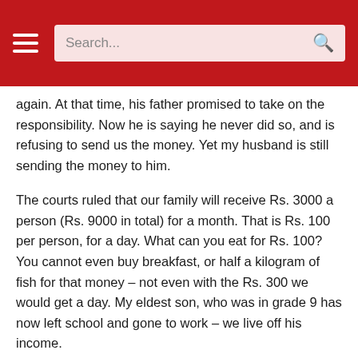Search...
again. At that time, his father promised to take on the responsibility. Now he is saying he never did so, and is refusing to send us the money. Yet my husband is still sending the money to him.
The courts ruled that our family will receive Rs. 3000 a person (Rs. 9000 in total) for a month. That is Rs. 100 per person, for a day. What can you eat for Rs. 100? You cannot even buy breakfast, or half a kilogram of fish for that money – not even with the Rs. 300 we would get a day. My eldest son, who was in grade 9 has now left school and gone to work – we live off his income.
When I went to the quazi courts with this letter saying that we had received no maintenance from 2007 to date, the judge said since he had only been appointed in 2016, he could only authorise maintenance payments for 2016, and that he was not